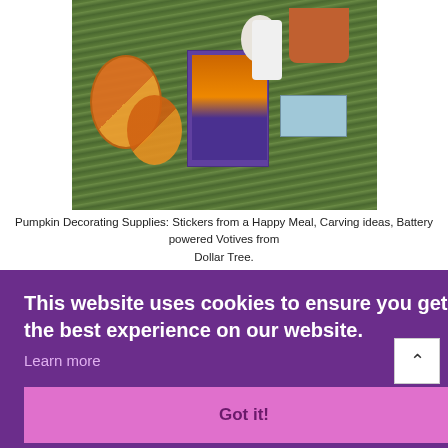[Figure (photo): Pumpkin decorating supplies laid out on grass: orange pumpkin stickers from a Happy Meal, a Pumpkin Carving Kit booklet, a white egg/pumpkin, battery powered votives in an orange pot from Dollar Tree, and a blue packaged item.]
Pumpkin Decorating Supplies: Stickers from a Happy Meal, Carving ideas, Battery powered Votives from Dollar Tree.
p them
w
kit.
[Figure (screenshot): Cookie consent overlay with purple background reading: 'This website uses cookies to ensure you get the best experience on our website.' with a 'Learn more' link and a pink 'Got it!' button.]
[Figure (photo): Bottom strip of a second photo showing what appears to be a pumpkin or orange object on the ground.]